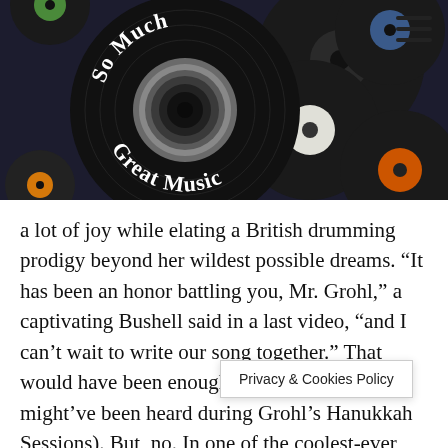[Figure (logo): So Much Great Music logo on vinyl record over a background of colorful vinyl records]
a lot of joy while elating a British drumming prodigy beyond her wildest possible dreams. “It has been an honor battling you, Mr. Grohl,” a captivating Bushell said in a last video, “and I can’t wait to write our song together.” That would have been enough (Dayenu! – as might’ve been heard during Grohl’s Hanukkah Sessions). But, no. In one of the coolest-ever gambits you’re likely to see, about six months later Nandi was invited to jo…ert to perform ‘Everlong’ li…L.A. Forum. She
Privacy & Cookies Policy